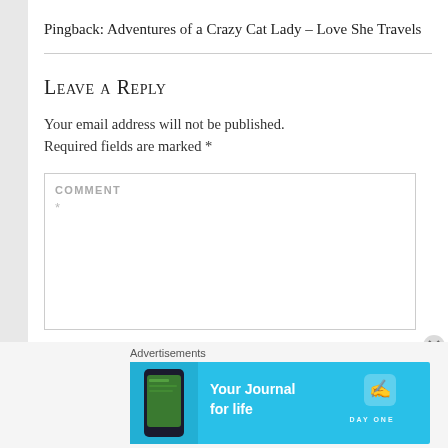Pingback: Adventures of a Crazy Cat Lady – Love She Travels
Leave a Reply
Your email address will not be published. Required fields are marked *
COMMENT *
[Figure (screenshot): Advertisement banner for Day One journal app with cyan background, phone image on left, 'Your Journal for life' text in center, and Day One logo on right]
Advertisements